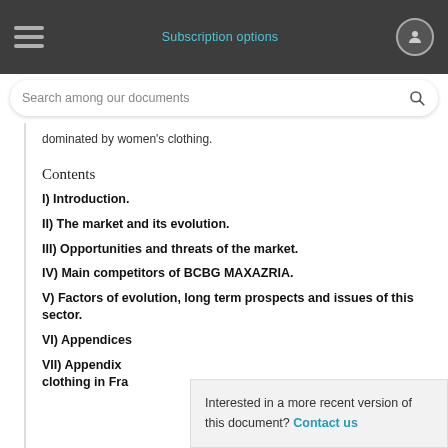Subscription options
dominated by women's clothing.
Contents
I) Introduction.
II) The market and its evolution.
III) Opportunities and threats of the market.
IV) Main competitors of BCBG MAXAZRIA.
V) Factors of evolution, long term prospects and issues of this sector.
VI) Appendices
VII) Appendix clothing in Fra
Interested in a more recent version of this document? Contact us